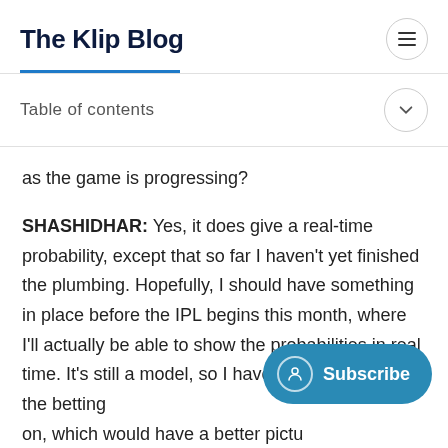The Klip Blog
Table of contents
as the game is progressing?
SHASHIDHAR: Yes, it does give a real-time probability, except that so far I haven't yet finished the plumbing. Hopefully, I should have something in place before the IPL begins this month, where I'll actually be able to show the probabilities in real time. It's still a model, so I haven't tested it against the betting on, which would have a better pictu game's exact probabilties are. But it gives us a good